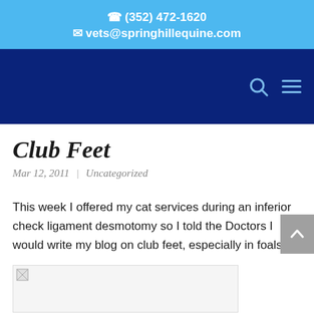☎ (352) 472-1620 ✉ vets@springhillequine.com
Club Feet
Mar 12, 2011 | Uncategorized
This week I offered my cat services during an inferior check ligament desmotomy so I told the Doctors I would write my blog on club feet, especially in foals.
[Figure (photo): Broken image placeholder at bottom of page]